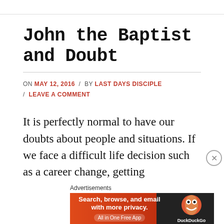John the Baptist and Doubt
ON MAY 12, 2016 / BY LAST DAYS DISCIPLE / LEAVE A COMMENT
It is perfectly normal to have our doubts about people and situations. If we face a difficult life decision such as a career change, getting
[Figure (screenshot): DuckDuckGo advertisement banner: 'Search, browse, and email with more privacy. All in One Free App' with DuckDuckGo logo on dark background.]